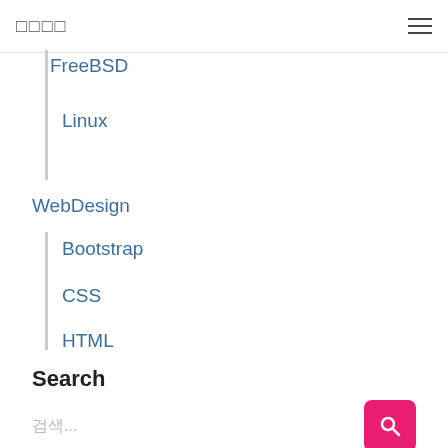□□□□
FreeBSD
Linux
WebDesign
Bootstrap
CSS
HTML
Wordpress
Search